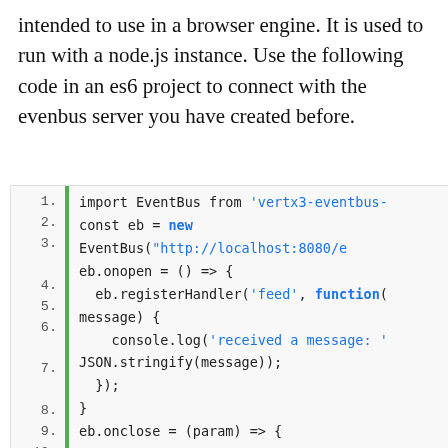intended to use in a browser engine. It is used to run with a node.js instance. Use the following code in an es6 project to connect with the evenbus server you have created before.
[Figure (screenshot): Code block with line numbers and a green left border showing JavaScript code importing EventBus and setting up event handlers for eb.onopen and eb.onclose]